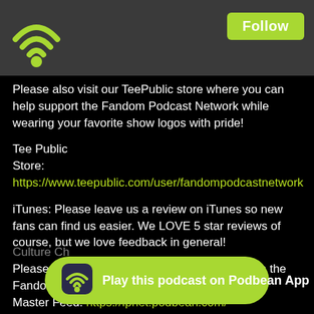Follow
Please also visit our TeePublic store where you can help support the Fandom Podcast Network while wearing your favorite show logos with pride!
Tee Public Store: https://www.teepublic.com/user/fandompodcastnetwork
iTunes: Please leave us a review on iTunes so new fans can find us easier. We LOVE 5 star reviews of course, but we love feedback in general!
Please listen to our other awesome podcasts on the Fandom Podcast Network:
Master Feed: https://fpnet.podbean.com/
Blood of Kings: A Highlander Podcast
https://fpnet.podbean.com/category/blood-of-kings/
Culture Ch
[Figure (other): Play this podcast on Podbean App button with wifi icon]